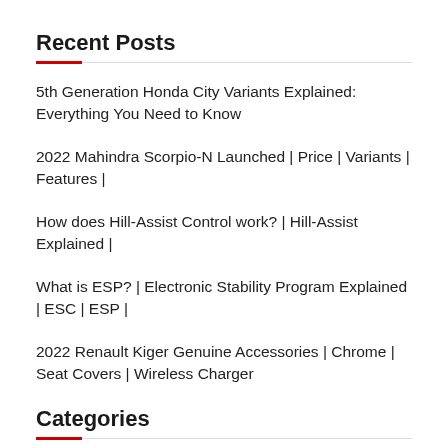Recent Posts
5th Generation Honda City Variants Explained: Everything You Need to Know
2022 Mahindra Scorpio-N Launched | Price | Variants | Features |
How does Hill-Assist Control work? | Hill-Assist Explained |
What is ESP? | Electronic Stability Program Explained | ESC | ESP |
2022 Renault Kiger Genuine Accessories | Chrome | Seat Covers | Wireless Charger
Categories